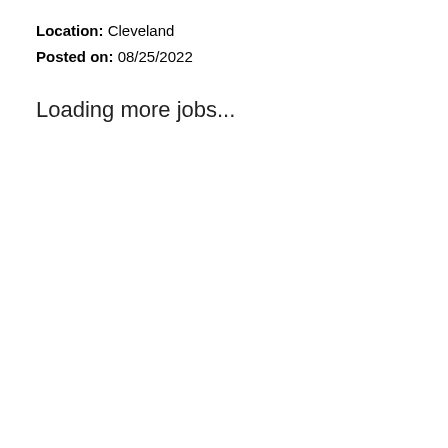Location: Cleveland
Posted on: 08/25/2022
Loading more jobs...